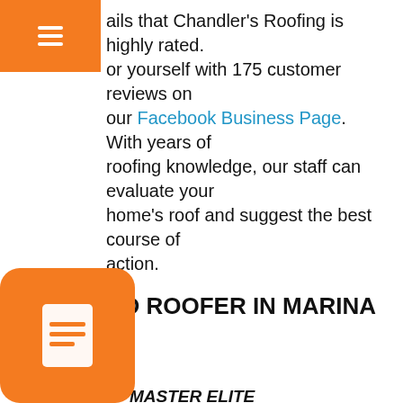ails that Chandler's Roofing is highly rated. or yourself with 175 customer reviews on our Facebook Business Page. With years of roofing knowledge, our staff can evaluate your home's roof and suggest the best course of action.
CERTIFIED ROOFER IN MARINA DEL REY, CA
WE ARE GAF MASTER ELITE CONTRACTORS AND GREEN ROOFING CERTIFIED
When you select a GAF Master Elite Residential Roofing Contractor, you have access to the greatest coverage in North America for limited lifetime warranties. As one of the 2% of roofers that are GAF Master Elite contractors, we have reached a high degree of professionalism and